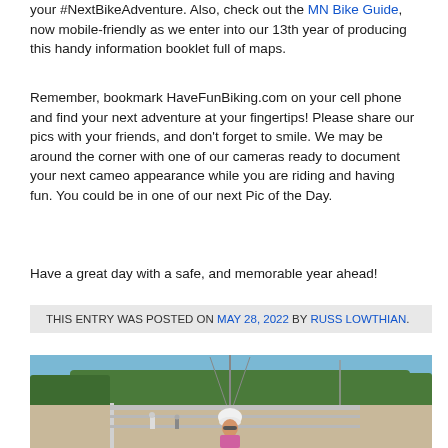your #NextBikeAdventure. Also, check out the MN Bike Guide, now mobile-friendly as we enter into our 13th year of producing this handy information booklet full of maps.
Remember, bookmark HaveFunBiking.com on your cell phone and find your next adventure at your fingertips! Please share our pics with your friends, and don't forget to smile. We may be around the corner with one of our cameras ready to document your next cameo appearance while you are riding and having fun. You could be in one of our next Pic of the Day.
Have a great day with a safe, and memorable year ahead!
THIS ENTRY WAS POSTED ON MAY 28, 2022 BY RUSS LOWTHIAN.
[Figure (photo): A cyclist wearing a white helmet and pink top riding on a bridge with a guardrail, trees and utility poles visible in the background under a blue sky. Other pedestrians visible in the distance.]